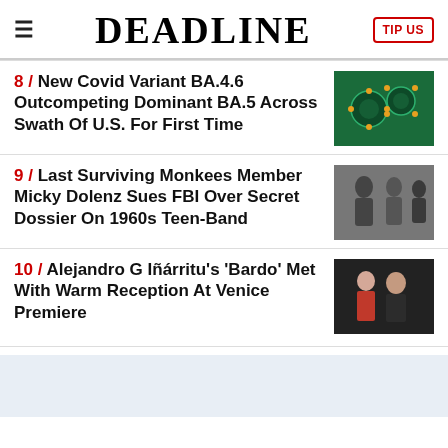DEADLINE | TIP US
8 / New Covid Variant BA.4.6 Outcompeting Dominant BA.5 Across Swath Of U.S. For First Time
9 / Last Surviving Monkees Member Micky Dolenz Sues FBI Over Secret Dossier On 1960s Teen-Band
10 / Alejandro G Iñárritu's 'Bardo' Met With Warm Reception At Venice Premiere